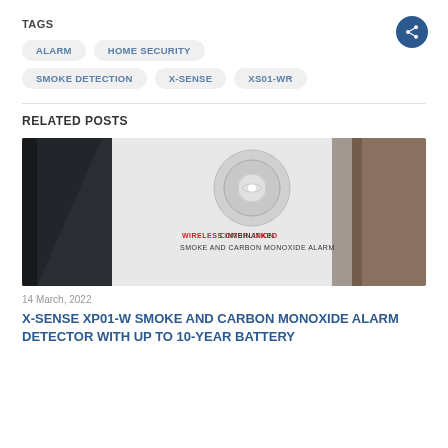TAGS
ALARM
HOME SECURITY
SMOKE DETECTION
X-SENSE
XS01-WR
RELATED POSTS
[Figure (photo): Box of X-Sense wireless interlinked combination smoke and carbon monoxide alarm product on a surface]
14 March, 2022
X-SENSE XP01-W SMOKE AND CARBON MONOXIDE ALARM DETECTOR WITH UP TO 10-YEAR BATTERY